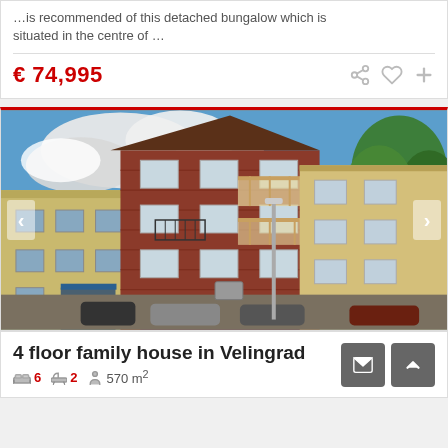…is recommended of this detached bungalow which is situated in the centre of …
€ 74,995
[Figure (photo): Exterior photo of a 4-floor family house in Velingrad. A tall red-brick multi-storey building with balconies in the centre, flanked by yellow-painted buildings. Blue sky with clouds, green trees on the right. Cars parked on the street in front.]
4 floor family house in Velingrad
6 bedrooms  2 bathrooms  570 m²